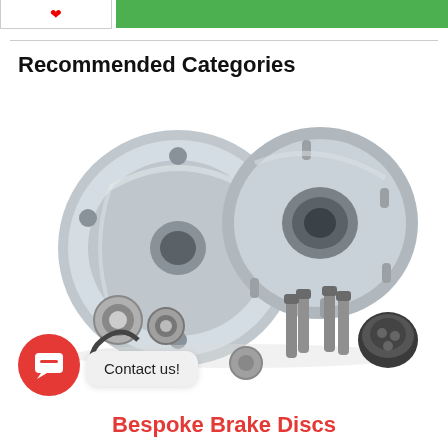Recommended Categories
[Figure (photo): Two wheel hub bearing assemblies (shiny silver metal) shown alongside loose components: bearing rings, bolts/studs, snap ring, washer, and a cap. Automotive wheel hub kit parts laid out on white background.]
Contact us!
Bespoke Brake Discs